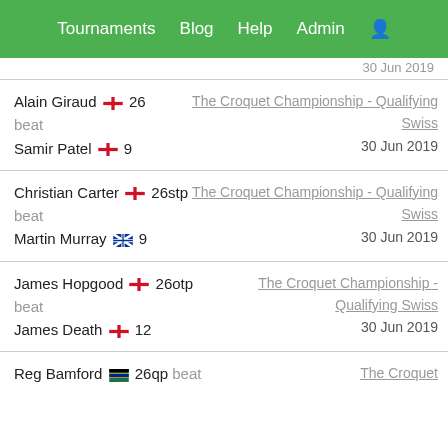Tournaments Blog Help Admin
30 Jun 2019
Alain Giraud 26 beat Samir Patel 9 | The Croquet Championship - Qualifying Swiss | 30 Jun 2019
Christian Carter 26stp beat Martin Murray 9 | The Croquet Championship - Qualifying Swiss | 30 Jun 2019
James Hopgood 26otp beat James Death 12 | The Croquet Championship - Qualifying Swiss | 30 Jun 2019
Reg Bamford 26qp beat | The Croquet